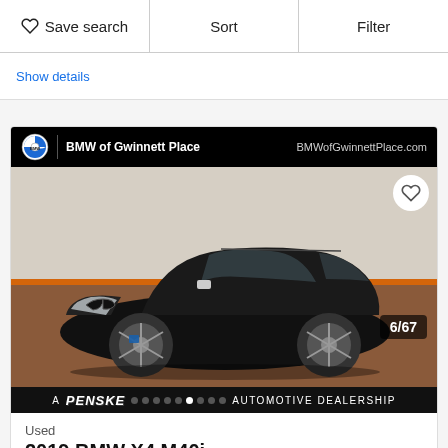Save search | Sort | Filter
Show details
[Figure (photo): Black 2019 BMW X4 M40i SUV photographed at BMW of Gwinnett Place dealership, showing front three-quarter view. Photo 6 of 67. Dealer bar shows BMW logo and BMWofGwinnettPlace.com. Bottom bar shows A PENSKE AUTOMOTIVE DEALERSHIP.]
Used
2019 BMW X4 M40i